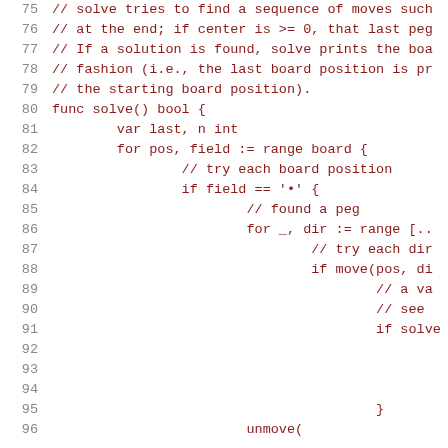[Figure (screenshot): Source code listing in Go language, lines 75-96, showing a solve() function with nested for loops, peg-finding logic, and move/unmove calls. Text is rendered in dark red monospace font on white background.]